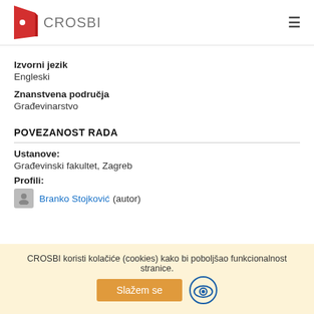CROSBI
Izvorni jezik
Engleski
Znanstvena područja
Građevinarstvo
POVEZANOST RADA
Ustanove:
Građevinski fakultet, Zagreb
Profili:
Branko Stojković (autor)
CROSBI koristi kolačiće (cookies) kako bi poboljšao funkcionalnost stranice.